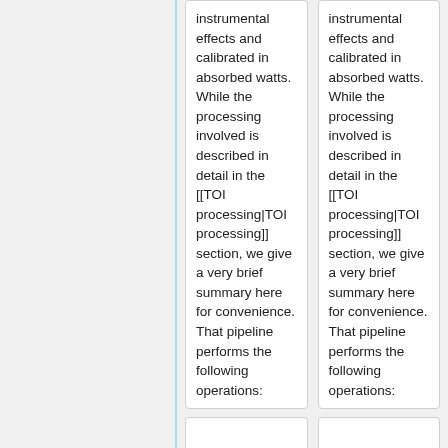instrumental effects and calibrated in absorbed watts. While the processing involved is described in detail in the [[TOI processing|TOI processing]] section, we give a very brief summary here for convenience. That pipeline performs the following operations:
instrumental effects and calibrated in absorbed watts. While the processing involved is described in detail in the [[TOI processing|TOI processing]] section, we give a very brief summary here for convenience. That pipeline performs the following operations:
Line 121:
Line 111: